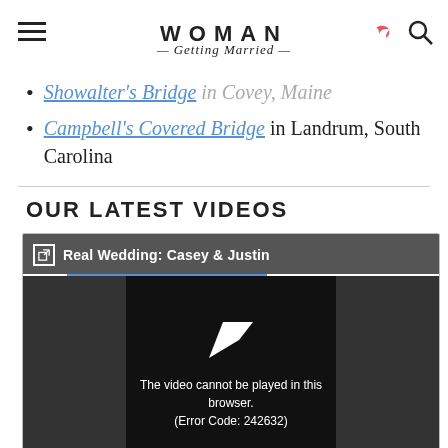WOMAN Getting Married
Showalter's Bridge in Covey, Maine
Campbell's Covered Bridge in Landrum, South Carolina
OUR LATEST VIDEOS
[Figure (screenshot): Video player showing 'Real Wedding: Casey & Justin' with error message: The video cannot be played in this browser. (Error Code: 242632)]